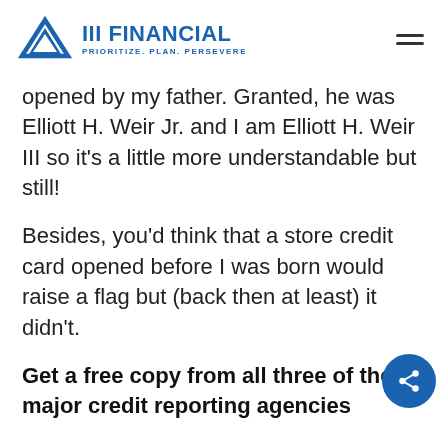III FINANCIAL — PRIORITIZE. PLAN. PERSEVERE.
opened by my father. Granted, he was Elliott H. Weir Jr. and I am Elliott H. Weir III so it’s a little more understandable but still!
Besides, you’d think that a store credit card opened before I was born would raise a flag but (back then at least) it didn’t.
Get a free copy from all three of the major credit reporting agencies